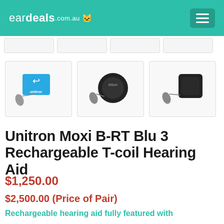eardeals.com.au
[Figure (screenshot): Thumbnail strip of product images partially visible at top]
[Figure (photo): Three product thumbnail images: Unitron hearing aid with logo, black round charging case with hearing aid, black square charging case with hearing aid]
Unitron Moxi B-RT Blu 3 Rechargeable T-coil Hearing Aid
$1,250.00
$2,500.00 (Price of Pair)
Rechargeable hearing aid fully featured with